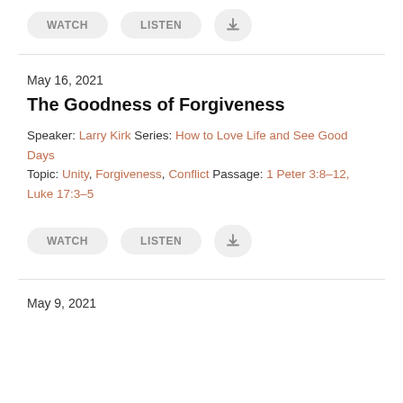[Figure (other): Row of buttons: WATCH, LISTEN, and a download icon button, partially visible at top]
May 16, 2021
The Goodness of Forgiveness
Speaker: Larry Kirk Series: How to Love Life and See Good Days Topic: Unity, Forgiveness, Conflict Passage: 1 Peter 3:8–12, Luke 17:3–5
[Figure (other): Row of buttons: WATCH, LISTEN, and a download icon button]
May 9, 2021